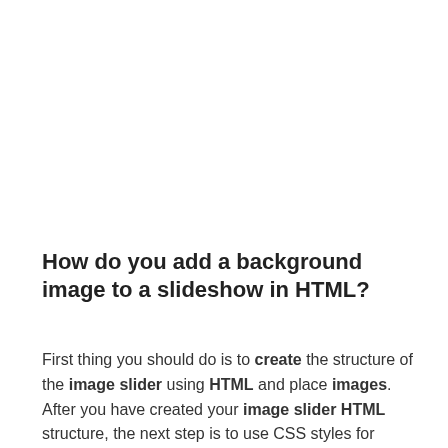How do you add a background image to a slideshow in HTML?
First thing you should do is to create the structure of the image slider using HTML and place images. After you have created your image slider HTML structure, the next step is to use CSS styles for having your slider's interface. Also, add at least their images...